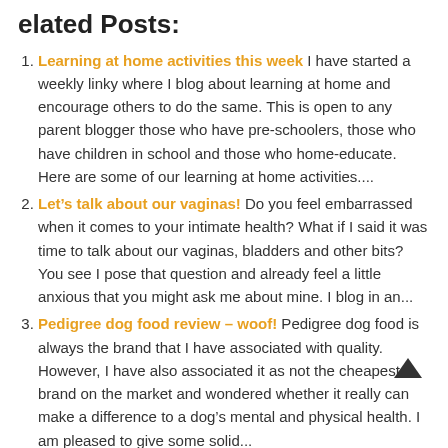elated Posts:
Learning at home activities this week I have started a weekly linky where I blog about learning at home and encourage others to do the same. This is open to any parent blogger those who have pre-schoolers, those who have children in school and those who home-educate. Here are some of our learning at home activities....
Let’s talk about our vaginas! Do you feel embarrassed when it comes to your intimate health? What if I said it was time to talk about our vaginas, bladders and other bits? You see I pose that question and already feel a little anxious that you might ask me about mine. I blog in an...
Pedigree dog food review – woof! Pedigree dog food is always the brand that I have associated with quality. However, I have also associated it as not the cheapest brand on the market and wondered whether it really can make a difference to a dog’s mental and physical health. I am pleased to give some solid...